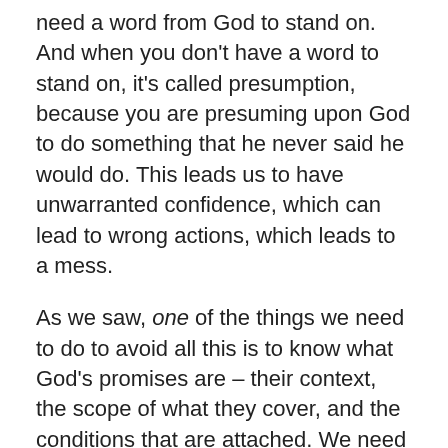need a word from God to stand on. And when you don't have a word to stand on, it's called presumption, because you are presuming upon God to do something that he never said he would do. This leads us to have unwarranted confidence, which can lead to wrong actions, which leads to a mess.
As we saw, one of the things we need to do to avoid all this is to know what God's promises are – their context, the scope of what they cover, and the conditions that are attached. We need to know what they mean. We need to know God's will so that we can have faith in this and receive from God.
So today, I want to give you 10 promises that you can stand on; that apply to you. And I hope as we go through this, God will speak to you about where you need more of